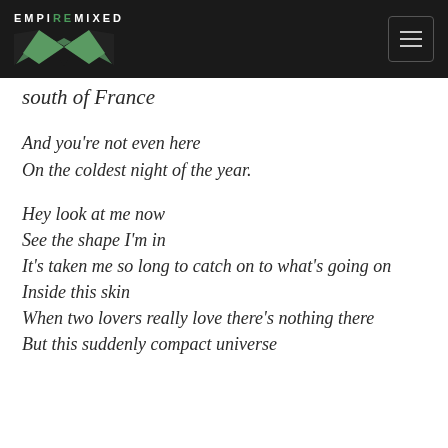EMPIREMIXED
south of France

And you're not even here
On the coldest night of the year.

Hey look at me now
See the shape I'm in
It's taken me so long to catch on to what's going on
Inside this skin
When two lovers really love there's nothing there
But this suddenly compact universe